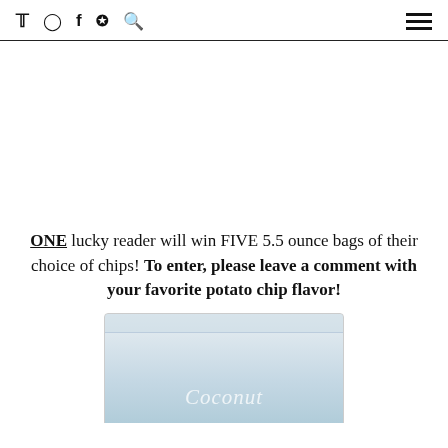Social icons: Twitter, Instagram, Facebook, Pinterest, Search | Hamburger menu
[Figure (other): Advertisement or blank space area]
ONE lucky reader will win FIVE 5.5 ounce bags of their choice of chips! To enter, please leave a comment with your favorite potato chip flavor!
[Figure (photo): Partial image of a Coconut flavored chip bag, light blue/white packaging, cropped at bottom of page]